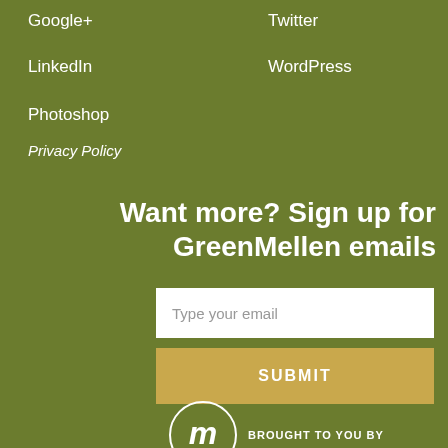Google+
Twitter
LinkedIn
WordPress
Photoshop
Privacy Policy
Want more? Sign up for GreenMellen emails
Type your email
SUBMIT
BROUGHT TO YOU BY